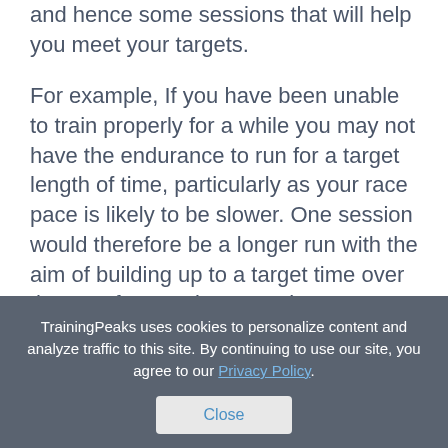and hence some sessions that will help you meet your targets.
For example, If you have been unable to train properly for a while you may not have the endurance to run for a target length of time, particularly as your race pace is likely to be slower. One session would therefore be a longer run with the aim of building up to a target time over the next few weeks. It can be associated with one of your short term goals as well.
TrainingPeaks uses cookies to personalize content and analyze traffic to this site. By continuing to use our site, you agree to our Privacy Policy.
Close